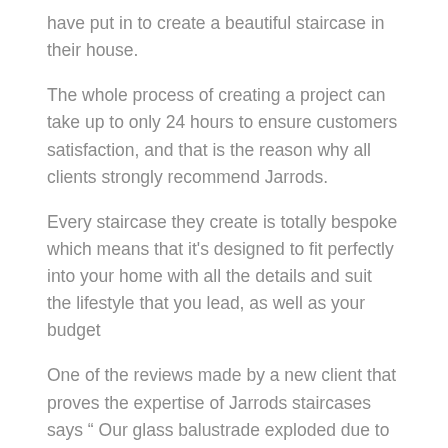have put in to create a beautiful staircase in their house.
The whole process of creating a project can take up to only 24 hours to ensure customers satisfaction, and that is the reason why all clients strongly recommend Jarrods.
Every staircase they create is totally bespoke which means that it's designed to fit perfectly into your home with all the details and suit the lifestyle that you lead, as well as your budget
One of the reviews made by a new client that proves the expertise of Jarrods staircases says " Our glass balustrade exploded due to the wrong installation. We were unable to find any company that would repair it until we were advised to contact Jarrods. It was the best advice ever. They are professional